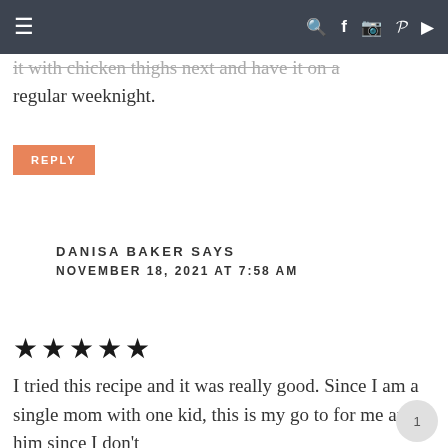≡  🔍 f 🖼 p ▶
it with chicken thighs next and have it on a regular weeknight.
REPLY
DANISA BAKER SAYS
NOVEMBER 18, 2021 AT 7:58 AM
★★★★★
I tried this recipe and it was really good. Since I am a single mom with one kid, this is my go to for me and him since I don't
need to cook a lot of food. I don't eat pork so I dread going to partake with other